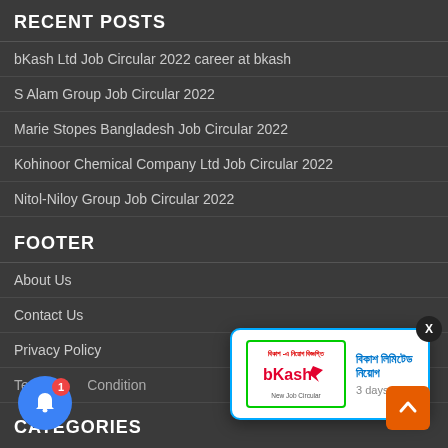RECENT POSTS
bKash Ltd Job Circular 2022 career at bkash
S Alam Group Job Circular 2022
Marie Stopes Bangladesh Job Circular 2022
Kohinoor Chemical Company Ltd Job Circular 2022
Nitol-Niloy Group Job Circular 2022
FOOTER
About Us
Contact Us
Privacy Policy
Terms & Conditions
CATEGORIES
[Figure (screenshot): Notification popup for bKash job circular with bKash logo image, Bengali text title in blue, and '3 days ago' timestamp. Close button X in top right corner.]